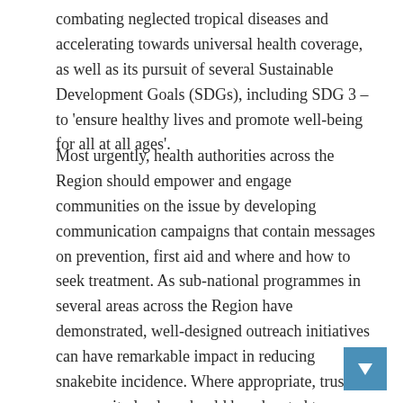combating neglected tropical diseases and accelerating towards universal health coverage, as well as its pursuit of several Sustainable Development Goals (SDGs), including SDG 3 –to 'ensure healthy lives and promote well-being for all at all ages'.
Most urgently, health authorities across the Region should empower and engage communities on the issue by developing communication campaigns that contain messages on prevention, first aid and where and how to seek treatment. As sub-national programmes in several areas across the Region have demonstrated, well-designed outreach initiatives can have remarkable impact in reducing snakebite incidence. Where appropriate, trusted community leaders should be educated to disseminate key messages, mobilize buy-in and ensure all community members appreciate that the risk of snakebite envenoming can be mitigated effectively at the local level itself.